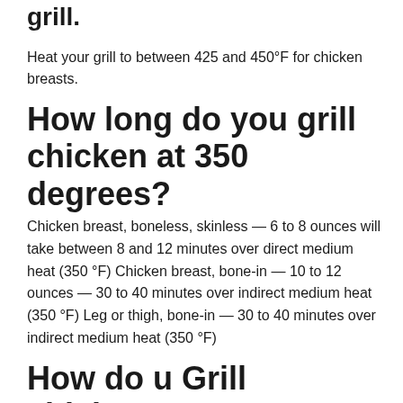grill.
Heat your grill to between 425 and 450°F for chicken breasts.
How long do you grill chicken at 350 degrees?
Chicken breast, boneless, skinless — 6 to 8 ounces will take between 8 and 12 minutes over direct medium heat (350 °F) Chicken breast, bone-in — 10 to 12 ounces — 30 to 40 minutes over indirect medium heat (350 °F) Leg or thigh, bone-in — 30 to 40 minutes over indirect medium heat (350 °F)
How do u Grill chicken?